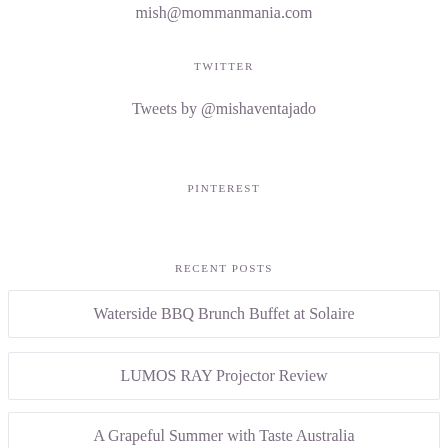mish@mommanmania.com
TWITTER
Tweets by @mishaventajado
PINTEREST
RECENT POSTS
Waterside BBQ Brunch Buffet at Solaire
LUMOS RAY Projector Review
A Grapeful Summer with Taste Australia